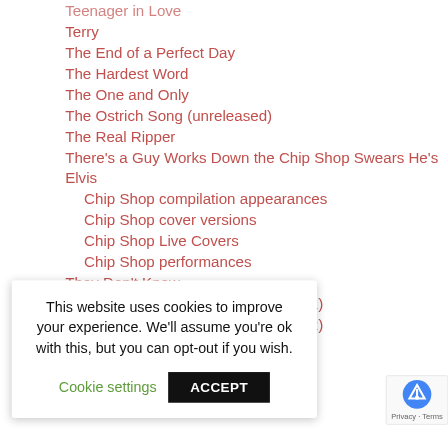Teenager in Love
Terry
The End of a Perfect Day
The Hardest Word
The One and Only
The Ostrich Song (unreleased)
The Real Ripper
There's a Guy Works Down the Chip Shop Swears He's Elvis
Chip Shop compilation appearances
Chip Shop cover versions
Chip Shop Live Covers
Chip Shop performances
They Don't Know
They Don't Know (cover versions 1)
They Don't Know (cover versions 2)
Things Happen
This website uses cookies to improve your experience. We'll assume you're ok with this, but you can opt-out if you wish.
Until the Night
Up the Gary Steine (unreleased)